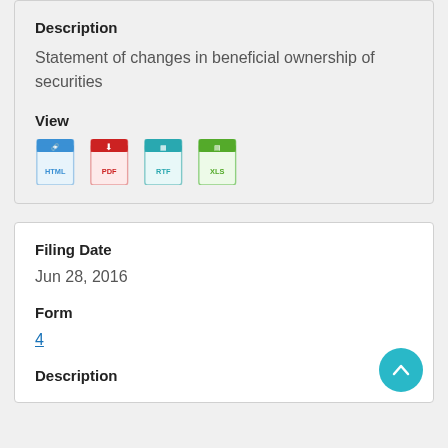Description
Statement of changes in beneficial ownership of securities
View
[Figure (other): Four file format icons: HTML (blue), PDF (red), RTF (teal), XLS (green)]
Filing Date
Jun 28, 2016
Form
4
Description